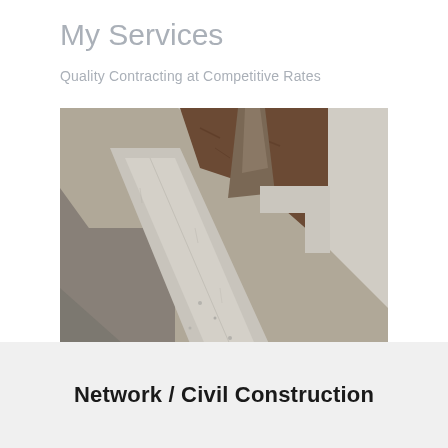My Services
Quality Contracting at Competitive Rates
[Figure (photo): Close-up photo of freshly poured concrete curbing along a sidewalk, with a tree trunk visible in the background surrounded by dark soil in a raised planter area. The concrete work includes a long curb separator and a right-angle corner.]
Network / Civil Construction